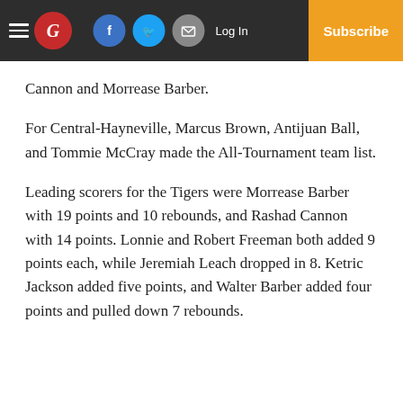Newspaper navigation bar with logo, social icons, Log In, and Subscribe
Cannon and Morrease Barber.
For Central-Hayneville, Marcus Brown, Antijuan Ball, and Tommie McCray made the All-Tournament team list.
Leading scorers for the Tigers were Morrease Barber with 19 points and 10 rebounds, and Rashad Cannon with 14 points. Lonnie and Robert Freeman both added 9 points each, while Jeremiah Leach dropped in 8. Ketric Jackson added five points, and Walter Barber added four points and pulled down 7 rebounds.